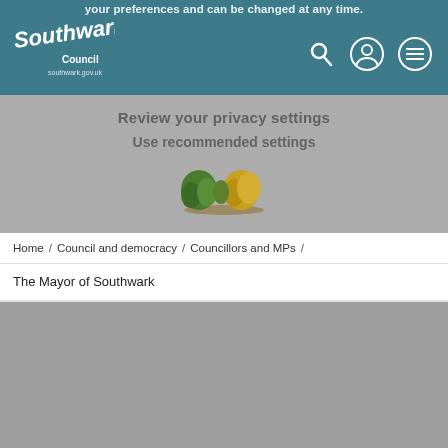your preferences and can be changed at any time.
[Figure (logo): Southwark Council logo in white text on teal background]
Review your privacy settings
Use recommended settings
[Figure (illustration): Small colorful bush/plant illustration]
Home / Council and democracy / Councillors and MPs /
The Mayor of Southwark